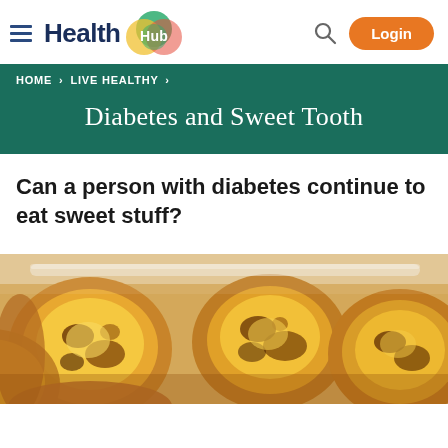Health Hub — Navigation bar with hamburger menu, logo, search icon, and Login button
HOME › LIVE HEALTHY ›
Diabetes and Sweet Tooth
Can a person with diabetes continue to eat sweet stuff?
[Figure (photo): Close-up photo of Portuguese custard tarts (pastéis de nata) with golden caramelized tops in a baking tray]